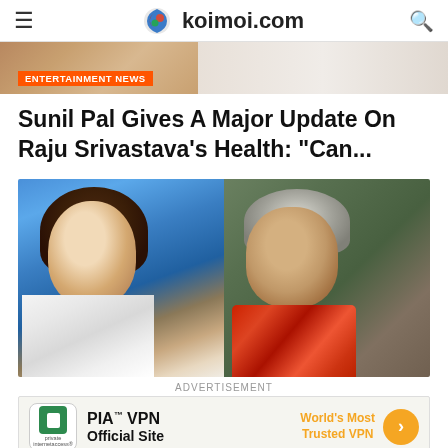koimoi.com
[Figure (photo): Hero banner strip with entertainment news image]
ENTERTAINMENT NEWS
Sunil Pal Gives A Major Update On Raju Srivastava’s Health: “Can...
[Figure (photo): Composite photo: left side shows a woman with long brown hair against a blue background wearing a floral white dress; right side shows a man with gray wavy hair wearing a red floral shirt against a dark olive background]
ADVERTISEMENT
[Figure (other): PIA VPN advertisement banner: Private Internet Access logo, PIA TM VPN Official Site text, World's Most Trusted VPN tagline in orange, orange arrow button]